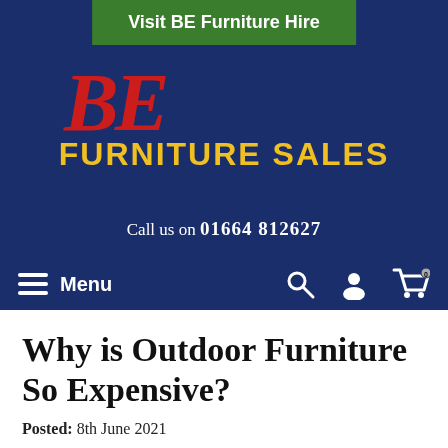[Figure (screenshot): Green banner button at top of website header reading 'Visit BE Furniture Hire']
[Figure (logo): BE Furniture Sales logo: large red italic 'BE' with gold 'FURNITURE SALES' text below, on dark navy background]
Call us on 01664 812627
[Figure (screenshot): Navigation bar with hamburger menu icon, Menu label, and search/user/cart icons on dark navy background]
Why is Outdoor Furniture So Expensive?
Posted: 8th June 2021
Is it just me or has garden furniture skyrocketed in price, so what's going on?